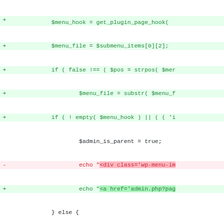[Figure (screenshot): Git diff view of PHP code showing added (green) and removed (red) lines related to WordPress admin menu hook logic. Lines show changes to $menu_hook, $menu_file, current_user_can checks, elseif conditions, strpos calls, and echo statements for HTML output.]